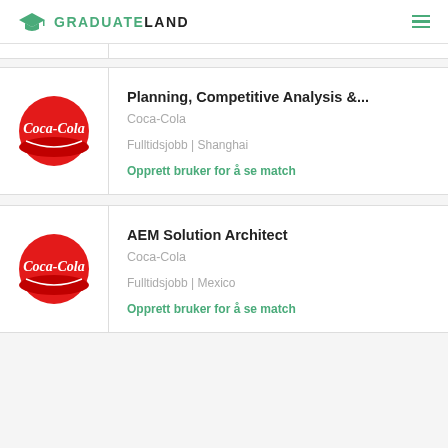GRADUATELAND
[Figure (logo): Coca-Cola logo circle (red with white script), job listing card: Planning, Competitive Analysis &...]
Planning, Competitive Analysis &...
Coca-Cola
Fulltidsjobb | Shanghai
Opprett bruker for å se match
[Figure (logo): Coca-Cola logo circle (red with white script), job listing card: AEM Solution Architect]
AEM Solution Architect
Coca-Cola
Fulltidsjobb | Mexico
Opprett bruker for å se match